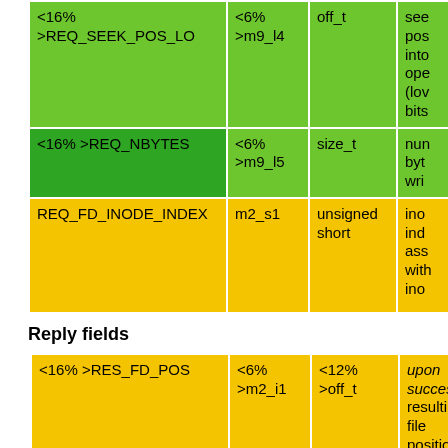| Field | Location | Type | Description |
| --- | --- | --- | --- |
| <16% >REQ_SEEK_POS_LO | <6% >m9_l4 | off_t | see pos into ope (low bits |
| <16% >REQ_NBYTES | <6% >m9_l5 | size_t | num byt wri |
| REQ_FD_INODE_INDEX | m2_s1 | unsigned short | ino ind ass wit ino |
Reply fields
| Field | Location | Type | Description |
| --- | --- | --- | --- |
| <16% >RES_FD_POS | <6% >m2_i1 | <12% >off_t | upon success: resulting file position |
| <16% | <6% | <12% |  |